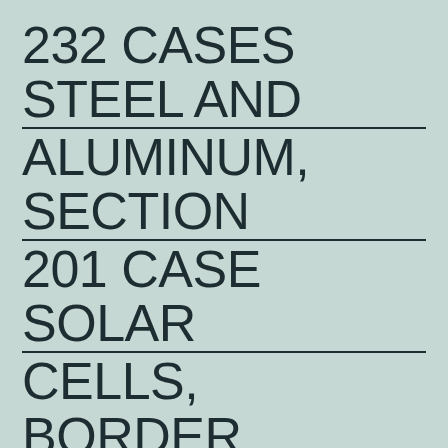232 CASES STEEL AND ALUMINUM, SECTION 201 CASE SOLAR CELLS, BORDER ADJUSTMENT TAXES, NAFTA AND 337
TRADE IS A TWO WAY STREET “PROTECTIONISM BECOMES DESTRUCTIONISM; IT COSTS JOBS” PRESIDENT RONALD REAGAN, JUNE 28, 1986 US-CHINA TRADE WAR MAY 30, 2017